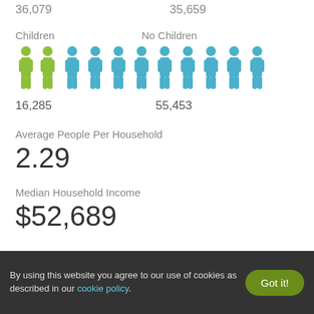36,079    35,659
[Figure (infographic): Pictogram showing Children vs No Children households. Green figures (2) represent Children households (16,285), blue figures (9) represent No Children households (55,453).]
Children    No Children
16,285    55,453
Average People Per Household
2.29
Median Household Income
$52,689
By using this website you agree to our use of cookies as described in our cookie policy.